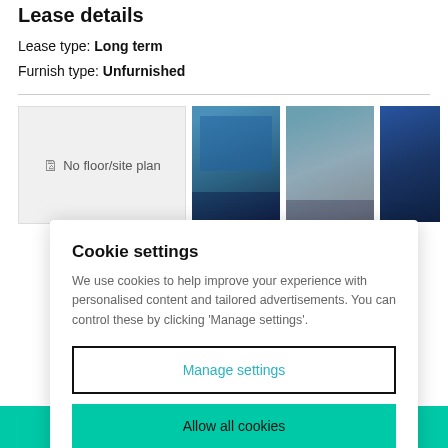Lease details
Lease type: Long term
Furnish type: Unfurnished
[Figure (screenshot): Property image gallery showing: a floor plan placeholder box with 'No floor/site plan' text and icon, followed by three property exterior photos showing industrial/warehouse buildings with blue doors and parking areas.]
Cookie settings
We use cookies to help improve your experience with personalised content and tailored advertisements. You can control these by clicking 'Manage settings'.
Manage settings
Allow all cookies